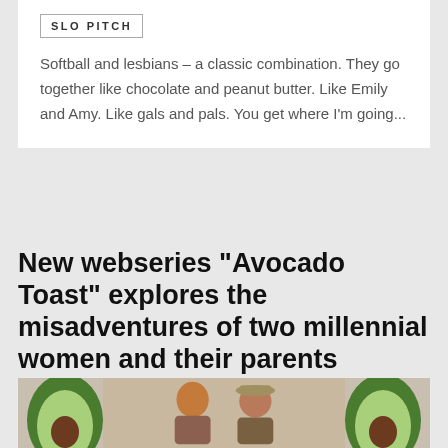SLO PITCH
Softball and lesbians – a classic combination. They go together like chocolate and peanut butter. Like Emily and Amy. Like gals and pals. You get where I'm going...
New webseries “Avocado Toast” explores the misadventures of two millennial women and their parents
WEBSERIES  by Dana Piccoli
[Figure (photo): Photo of two women with avocado emoji graphics on left and right sides]